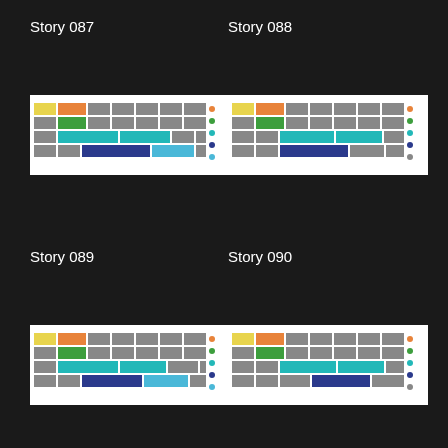Story 087
[Figure (infographic): Stacked bar chart thumbnail for Story 087 showing colored segments in orange, green, teal, navy, gray]
Story 088
[Figure (infographic): Stacked bar chart thumbnail for Story 088 showing colored segments in orange, green, teal, navy, gray]
Story 089
[Figure (infographic): Stacked bar chart thumbnail for Story 089 showing colored segments in orange, green, teal, navy, gray]
Story 090
[Figure (infographic): Stacked bar chart thumbnail for Story 090 showing colored segments in orange, green, teal, navy, gray]
Story 091
Story 092